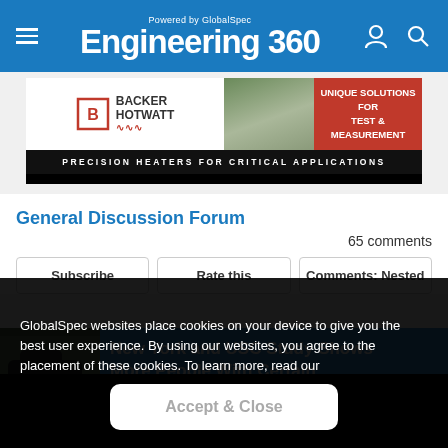Engineering 360 — Powered by GlobalSpec
[Figure (advertisement): Backer Hotwatt advertisement banner: Precision Heaters for Critical Applications, Unique Solutions for Test & Measurement]
General Discussion Forum
65 comments
Subscribe | Rate this | Comments: Nested
New York and USC Study Shows More People With Certain...
GlobalSpec websites place cookies on your device to give you the best user experience. By using our websites, you agree to the placement of these cookies. To learn more, read our Privacy Policy
Accept & Close